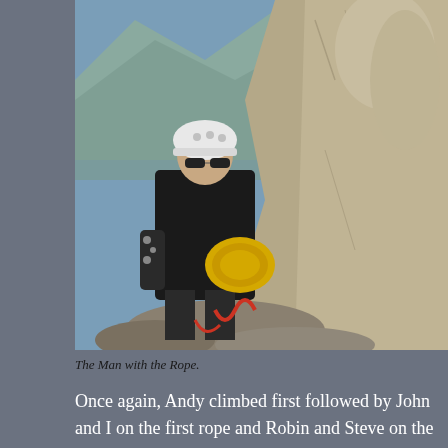[Figure (photo): A man in a white helmet and black jacket holding a yellow coiled rope, standing on rocky terrain with mountains in the background. He appears to be a rock climber with climbing gear.]
The Man with the Rope.
Once again, Andy climbed first followed by John and I on the first rope and Robin and Steve on the second. Andy gave us the call and John and I were off the climb onto the ridge in to right from a